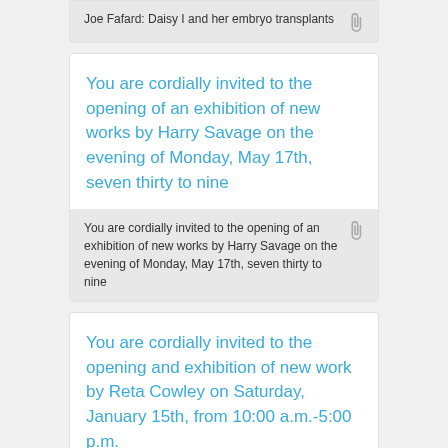Joe Fafard: Daisy I and her embryo transplants
You are cordially invited to the opening of an exhibition of new works by Harry Savage on the evening of Monday, May 17th, seven thirty to nine
You are cordially invited to the opening of an exhibition of new works by Harry Savage on the evening of Monday, May 17th, seven thirty to nine
You are cordially invited to the opening and exhibition of new work by Reta Cowley on Saturday, January 15th, from 10:00 a.m.-5:00 p.m.